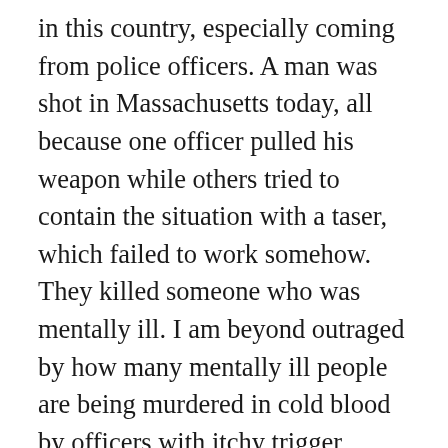in this country, especially coming from police officers. A man was shot in Massachusetts today, all because one officer pulled his weapon while others tried to contain the situation with a taser, which failed to work somehow. They killed someone who was mentally ill. I am beyond outraged by how many mentally ill people are being murdered in cold blood by officers with itchy trigger fingers. I am equally outraged by police murdering people and judging them based on nothing more than the color of their skin. Racism in this country is at an all-time high, as are anti-Semitic attacks (New York City, take a long hard look at your mayor, governor, and some of your elected “officials”.), and